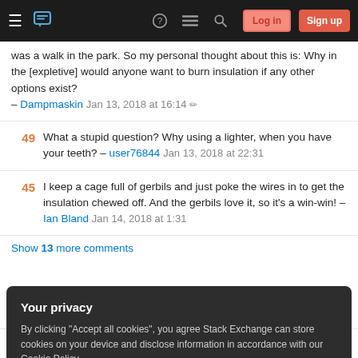Stack Exchange navigation bar with hamburger menu, logo, icons, Log in and Sign up buttons
was a walk in the park. So my personal thought about this is: Why in the [expletive] would anyone want to burn insulation if any other options exist? – Dampmaskin Jan 13, 2018 at 16:14
49 What a stupid question? Why using a lighter, when you have your teeth? – user76844 Jan 13, 2018 at 22:31
45 I keep a cage full of gerbils and just poke the wires in to get the insulation chewed off. And the gerbils love it, so it's a win-win! – Ian Bland Jan 14, 2018 at 1:31
Show 13 more comments
Your privacy
By clicking "Accept all cookies", you agree Stack Exchange can store cookies on your device and disclose information in accordance with our Cookie Policy.
Accept all cookies   Customize settings
125  2. It leaves soot and partially burned plastic on the